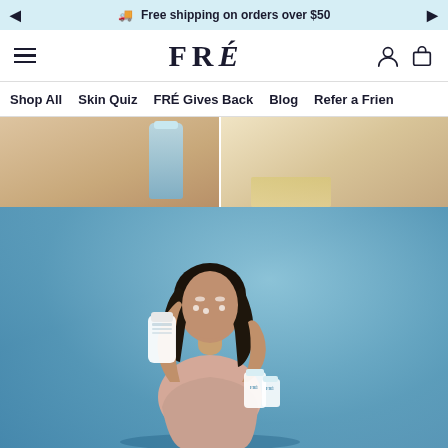Free shipping on orders over $50
[Figure (logo): FRÉ brand logo with hamburger menu, user icon, and bag icon]
Shop All  Skin Quiz  FRÉ Gives Back  Blog  Refer a Friend
[Figure (photo): Two cropped images showing models applying skincare products, one holding a blue bottle]
[Figure (photo): Hero photo: woman with dark curly hair wearing a peach sports bra, holding FRÉ skincare products against a blue background]